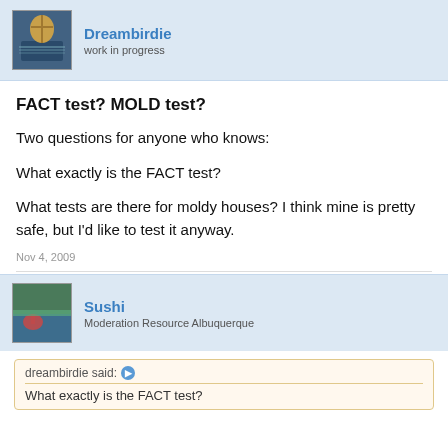Dreambirdie
work in progress
FACT test? MOLD test?
Two questions for anyone who knows:
What exactly is the FACT test?
What tests are there for moldy houses? I think mine is pretty safe, but I'd like to test it anyway.
Nov 4, 2009
Sushi
Moderation Resource Albuquerque
dreambirdie said:
What exactly is the FACT test?